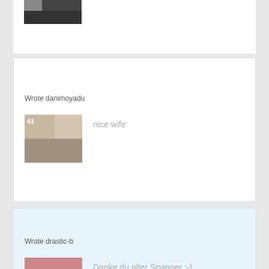[Figure (photo): Partial thumbnail image visible at top of page, cropped]
[Figure (photo): Thumbnail photo associated with danimoyadu comment]
Wrote danimoyadu
nice wife
Wrote drastic-b
[Figure (photo): Thumbnail photo associated with drastic-b comment showing person in dark leggings]
Danke du alter Spanner :-)